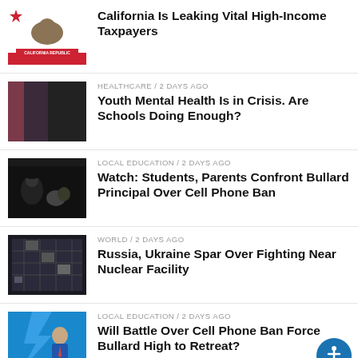[Figure (photo): California Republic flag with bear]
California Is Leaking Vital High-Income Taxpayers
[Figure (photo): Student at computer, healthcare related]
HEALTHCARE / 2 days ago
Youth Mental Health Is in Crisis. Are Schools Doing Enough?
[Figure (photo): Students and parents at school meeting]
LOCAL EDUCATION / 2 days ago
Watch: Students, Parents Confront Bullard Principal Over Cell Phone Ban
[Figure (photo): Aerial view of nuclear facility]
WORLD / 2 days ago
Russia, Ukraine Spar Over Fighting Near Nuclear Facility
[Figure (photo): People in discussion, education setting]
LOCAL EDUCATION / 2 days ago
Will Battle Over Cell Phone Ban Force Bullard High to Retreat?